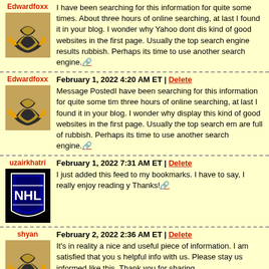Edwardfoxx - I have been searching for this information for quite some times. About three hours of online searching, at last I found it in your blog. I wonder why Yahoo dont display this kind of good websites in the first page. Usually the top search engine results are full of rubbish. Perhaps its time to use another search engine.
Edwardfoxx - February 1, 2022 4:20 AM ET | Delete - Message PostedI have been searching for this information for quite some times. About three hours of online searching, at last I found it in your blog. I wonder why Yahoo dont display this kind of good websites in the first page. Usually the top search engine results are full of rubbish. Perhaps its time to use another search engine.
uzairkhatri - February 1, 2022 7:31 AM ET | Delete - I just added this feed to my bookmarks. I have to say, I really enjoy reading your posts. Thanks!
shyan - February 2, 2022 2:36 AM ET | Delete - It's in reality a nice and useful piece of information. I am satisfied that you shared this helpful info with us. Please stay us informed like this. Thank you for sharing.